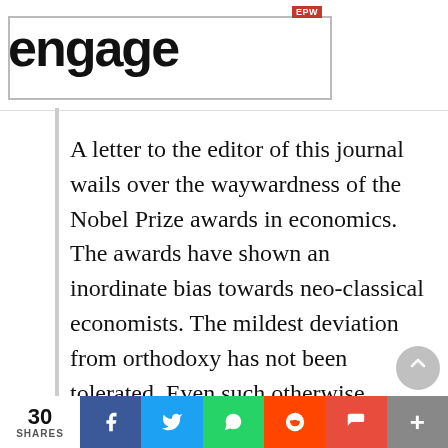EPW engage
A letter to the editor of this journal wails over the waywardness of the Nobel Prize awards in economics. The awards have shown an inordinate bias towards neo-classical economists. The mildest deviation from orthodoxy has not been tolerated. Even such otherwise impeccable Keynesians as Nicholas Kaldor and Joan Robinson have been ignored for the towards. This is most unfair, the letter comments unless the Awards
30 SHARES | Facebook | Twitter | WhatsApp | Reddit | Pocket | More